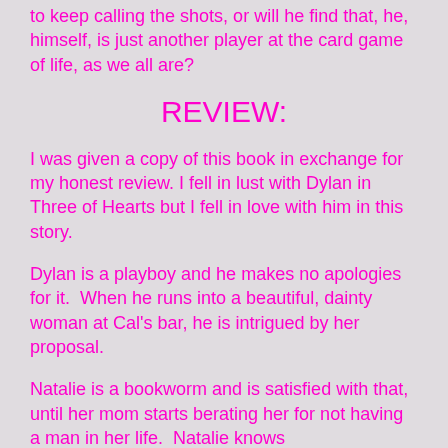to keep calling the shots, or will he find that, he, himself, is just another player at the card game of life, as we all are?
REVIEW:
I was given a copy of this book in exchange for my honest review. I fell in lust with Dylan in Three of Hearts but I fell in love with him in this story.
Dylan is a playboy and he makes no apologies for it.  When he runs into a beautiful, dainty woman at Cal's bar, he is intrigued by her proposal.
Natalie is a bookworm and is satisfied with that, until her mom starts berating her for not having a man in her life.  Natalie knows